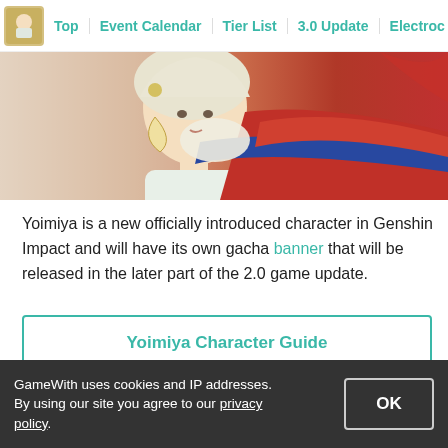Top | Event Calendar | Tier List | 3.0 Update | Electroc
[Figure (illustration): Anime character illustration - Yoimiya from Genshin Impact, showing a figure with light hair wearing colorful traditional Japanese-style clothing with red and blue elements]
Yoimiya is a new officially introduced character in Genshin Impact and will have its own gacha banner that will be released in the later part of the 2.0 game update.
Yoimiya Character Guide
Sponsored Link
[Figure (screenshot): Menu hamburger icon with three horizontal lines and Menu label below]
[Figure (other): Close/X button circle]
[Figure (screenshot): Black video/advertisement box]
GameWith uses cookies and IP addresses. By using our site you agree to our privacy policy.